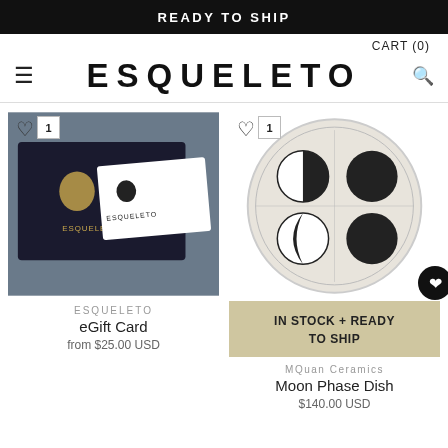READY TO SHIP
CART (0)
ESQUELETO
[Figure (photo): Esqueleto branded gift card and black box packaging on a grey background]
ESQUELETO
eGift Card
from $25.00 USD
[Figure (photo): Moon phase ceramic dish showing moon phases in black on a white/cream round dish]
IN STOCK + READY TO SHIP
MQuan Ceramics
Moon Phase Dish
$140.00 USD